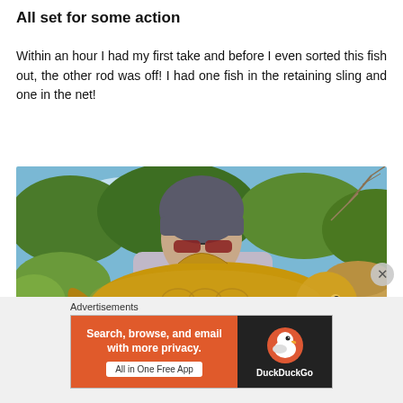All set for some action
Within an hour I had my first take and before I even sorted this fish out, the other rod was off!  I had one fish in the retaining sling and one in the net!
[Figure (photo): Person holding a large golden carp fish outdoors with trees and blue sky in background]
Advertisements
[Figure (screenshot): DuckDuckGo advertisement banner: 'Search, browse, and email with more privacy. All in One Free App' on orange background with DuckDuckGo logo on dark background]